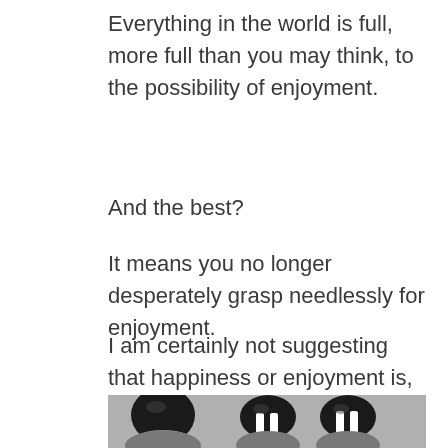Everything in the world is full, more full than you may think, to the possibility of enjoyment.
And the best?
It means you no longer desperately grasp needlessly for enjoyment.
I am certainly not suggesting that happiness or enjoyment is, or should be, our purpose in Life. I tend to believe the
[Figure (photo): Black and white close-up photo of hands with painted fingernails showing black and white striped nail art design.]